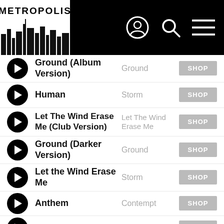METROPOLIS — navigation header with logo, user icon, search, and menu
Ground (Album Version) | Ground | SHOP
Human | Storm | SHOP
Let The Wind Erase Me (Club Version) | Let The Wind Erase Me | SHOP
Ground (Darker Version) | Ground | SHOP
Let the Wind Erase Me | Storm | SHOP
Anthem | Contempt | SHOP
Drive | Defiance | SHOP